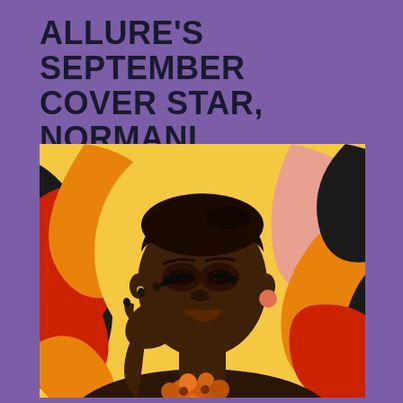ALLURE'S SEPTEMBER COVER STAR, NORMANI
[Figure (photo): Portrait photo of Normani, Allure's September cover star, posed with hand near face against a colorful swirling abstract background in red, orange, yellow, and black tones. She wears a floral orange accessory at the neckline.]